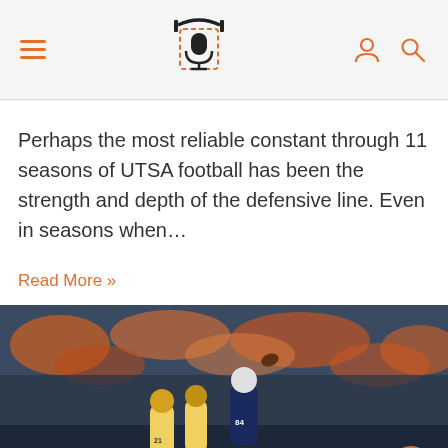Navigation header with hamburger menu, podcast microphone logo, user icon, and search icon
Perhaps the most reliable constant through 11 seasons of UTSA football has been the strength and depth of the defensive line. Even in seasons when…
Read More »
[Figure (photo): Football game action photo showing a UTSA player wearing number 84 jumping to catch or throw a ball, with opposing team players in white/gold uniforms visible, crowd in orange and navy in the background.]